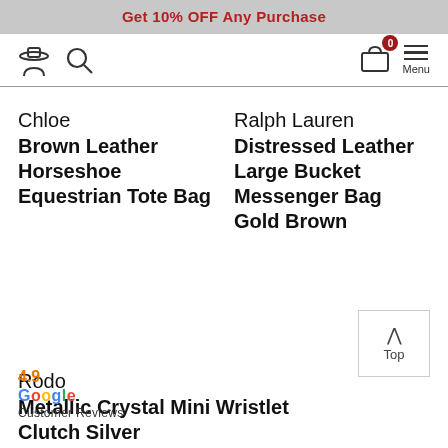Get 10% OFF Any Purchase
Chloe
Brown Leather Horseshoe Equestrian Tote Bag
Ralph Lauren
Distressed Leather Large Bucket Messenger Bag Gold Brown
Rodo
Metallic Crystal Mini Wristlet Clutch Silver
4.9
Google
Customer Reviews